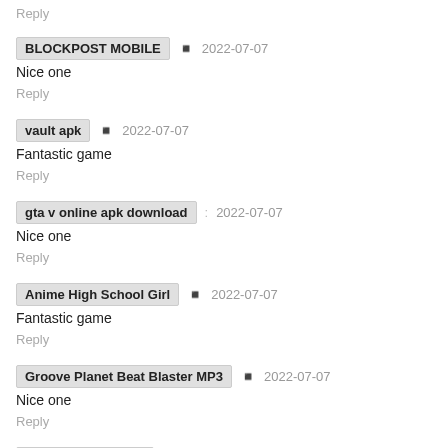Reply
BLOCKPOST MOBILE · 2022-07-07
Nice one
Reply
vault apk · 2022-07-07
Fantastic game
Reply
gta v online apk download · 2022-07-07
Nice one
Reply
Anime High School Girl · 2022-07-07
Fantastic game
Reply
Groove Planet Beat Blaster MP3 · 2022-07-07
Nice one
Reply
eFootball PES 2021 · 2022-07-07